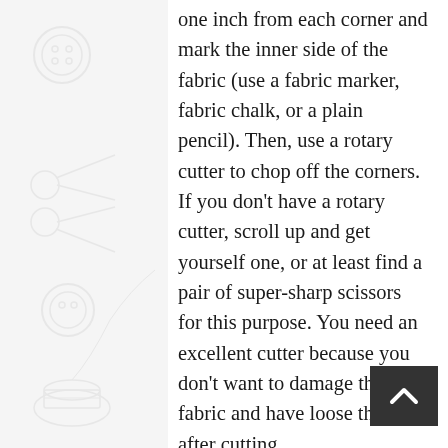one inch from each corner and mark the inner side of the fabric (use a fabric marker, fabric chalk, or a plain pencil). Then, use a rotary cutter to chop off the corners. If you don't have a rotary cutter, scroll up and get yourself one, or at least find a pair of super-sharp scissors for this purpose. You need an excellent cutter because you don't want to damage the fabric and have loose threads after cutting.
Step 3: Iron and Fold the Fabric
Take an iron or your small steamer